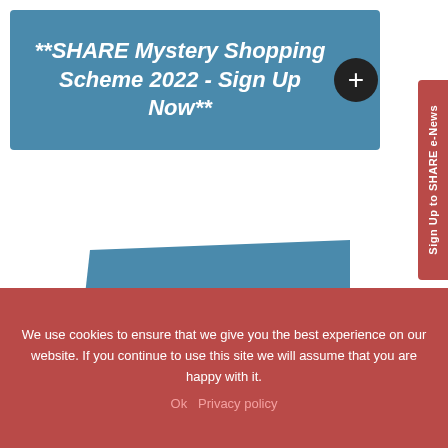**SHARE Mystery Shopping Scheme 2022 - Sign Up Now**
[Figure (illustration): Welcome illustration with a blue tilted background panel showing 'WELCOME' text in bold white, and an orange owl/chick face character with large white eyes and small white beak at the bottom]
Sign Up to SHARE e-News
We use cookies to ensure that we give you the best experience on our website. If you continue to use this site we will assume that you are happy with it.
Ok   Privacy policy